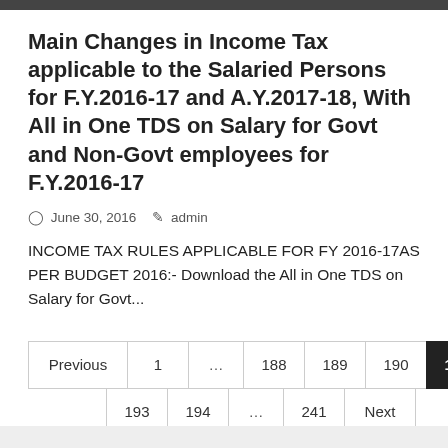Main Changes in Income Tax applicable to the Salaried Persons for F.Y.2016-17 and A.Y.2017-18, With All in One TDS on Salary for Govt and Non-Govt employees for F.Y.2016-17
June 30, 2016   admin
INCOME TAX RULES APPLICABLE FOR FY 2016-17AS PER BUDGET 2016:- Download the All in One TDS on Salary for Govt...
Previous  1  ...  188  189  190  191  192  193  194  ...  241  Next